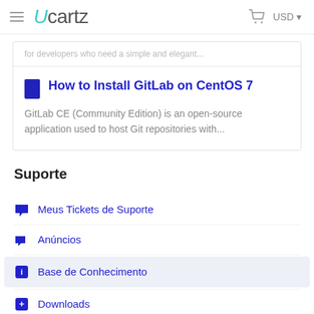Ucartz — USD
for developers who need a simple and elegant...
How to Install GitLab on CentOS 7
GitLab CE (Community Edition) is an open-source application used to host Git repositories with...
Suporte
Meus Tickets de Suporte
Anúncios
Base de Conhecimento
Downloads